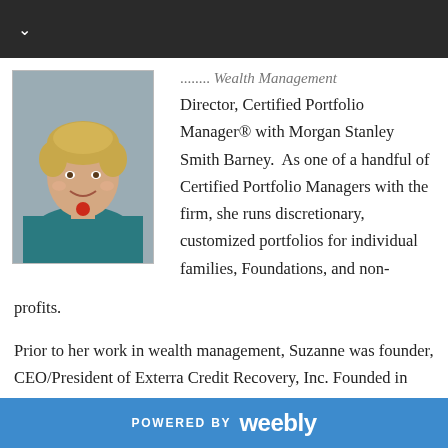[Figure (photo): Professional headshot of a woman with short blonde hair wearing a teal jacket and red necklace, smiling against a gray background]
...wealth Management Director, Certified Portfolio Manager® with Morgan Stanley Smith Barney. As one of a handful of Certified Portfolio Managers with the firm, she runs discretionary, customized portfolios for individual families, Foundations, and non-profits.
Prior to her work in wealth management, Suzanne was founder, CEO/President of Exterra Credit Recovery, Inc. Founded in Exterra in 1997, Suzanne and her team grew the firm to 500...
POWERED BY weebly